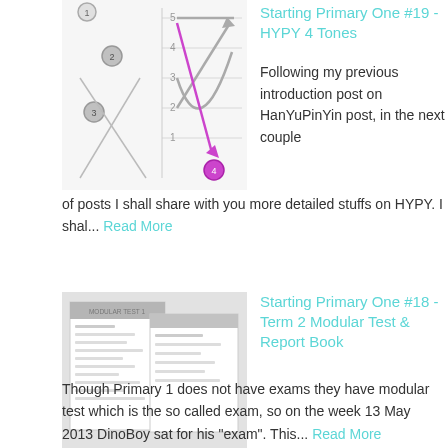[Figure (illustration): Thumbnail image showing a pinyin tone diagram with arrows and dots on a grid with numbers 1-5]
Starting Primary One #19 - HYPY 4 Tones
Following my previous introduction post on HanYuPinYin post, in the next couple of posts I shall share with you more detailed stuffs on HYPY.  I shal...
Read More
[Figure (photo): Thumbnail image of a modular test paper / report book document]
Starting Primary One #18 - Term 2 Modular Test & Report Book
Though Primary 1 does not have exams they have modular test which is the so called exam, so on the week 13 May 2013 DinoBoy sat for his "exam". This...
Read More
[Figure (photo): Thumbnail image with chalkboard text reading Parent Teacher Meeting]
Primary One Parent Teacher Meeting
We had Parent Teacher Meeting recently,